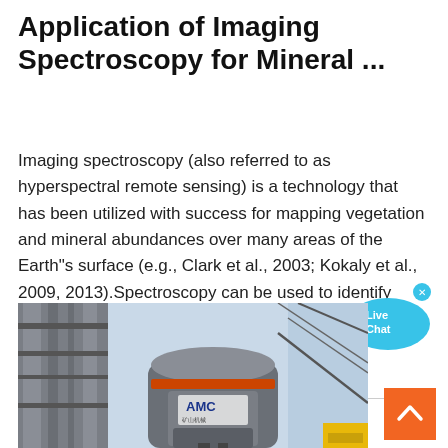Application of Imaging Spectroscopy for Mineral ...
Imaging spectroscopy (also referred to as hyperspectral remote sensing) is a technology that has been utilized with success for mapping vegetation and mineral abundances over many areas of the Earth"s surface (e.g., Clark et al., 2003; Kokaly et al., 2009, 2013).Spectroscopy can be used to identify certain minerals based on their electronic and vibrational absorptions in the reflected ...
[Figure (photo): Industrial mineral processing equipment (AMC brand cone crusher or mill) on a construction/industrial site with steel scaffolding and blue sky background.]